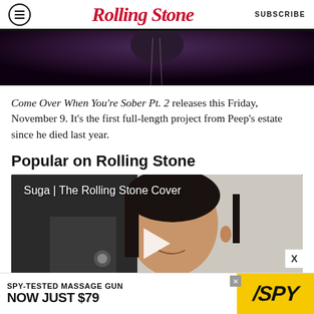RollingStone  SUBSCRIBE
[Figure (photo): Cropped photo of a person wearing dark clothing with a chain necklace, dark moody background]
Come Over When You're Sober Pt. 2 releases this Friday, November 9. It's the first full-length project from Peep's estate since he died last year.
Popular on Rolling Stone
[Figure (screenshot): Video thumbnail showing a young Asian person smiling, with text overlay 'Suga | The Rolling Stone Cover' and a play button]
[Figure (other): Advertisement banner: SPY-TESTED MASSAGE GUN NOW JUST $79 with SPY logo on yellow background]